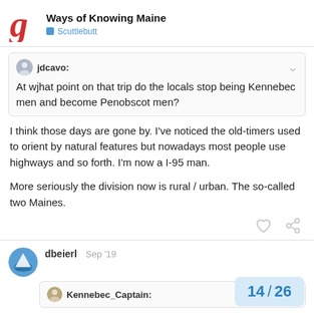Ways of Knowing Maine — Scuttlebutt
jdcavo: At wjhat point on that trip do the locals stop being Kennebec men and become Penobscot men?
I think those days are gone by. I've noticed the old-timers used to orient by natural features but nowadays most people use highways and so forth. I'm now a I-95 man.

More seriously the division now is rural / urban. The so-called two Maines.
dbeierl  Sep '19
Kennebec_Captain:
14 / 26